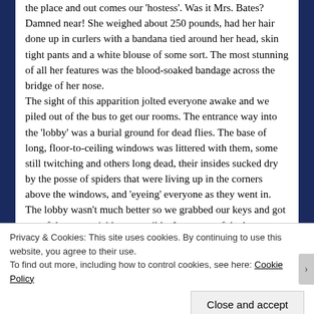the place and out comes our 'hostess'. Was it Mrs. Bates? Damned near! She weighed about 250 pounds, had her hair done up in curlers with a bandana tied around her head, skin tight pants and a white blouse of some sort. The most stunning of all her features was the blood-soaked bandage across the bridge of her nose. The sight of this apparition jolted everyone awake and we piled out of the bus to get our rooms. The entrance way into the 'lobby' was a burial ground for dead flies. The base of long, floor-to-ceiling windows was littered with them, some still twitching and others long dead, their insides sucked dry by the posse of spiders that were living up in the corners above the windows, and 'eyeing' everyone as they went in. The lobby wasn't much better so we grabbed our keys and got out of there as quickly as possible. I was one of the last to
Privacy & Cookies: This site uses cookies. By continuing to use this website, you agree to their use. To find out more, including how to control cookies, see here: Cookie Policy
Close and accept